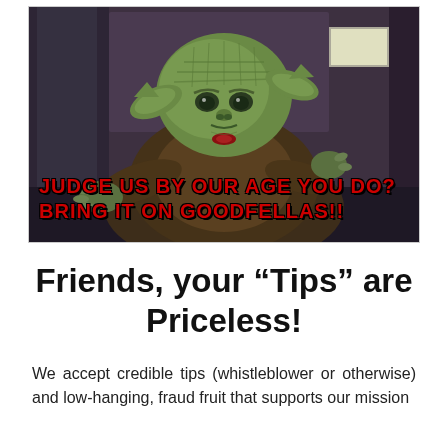[Figure (photo): Photo of Yoda from Star Wars with red bold overlay text reading 'Judge us by our age you do? Bring it on Goodfellas!!']
Friends, your “Tips” are Priceless!
We accept credible tips (whistleblower or otherwise) and low-hanging, fraud fruit that supports our mission